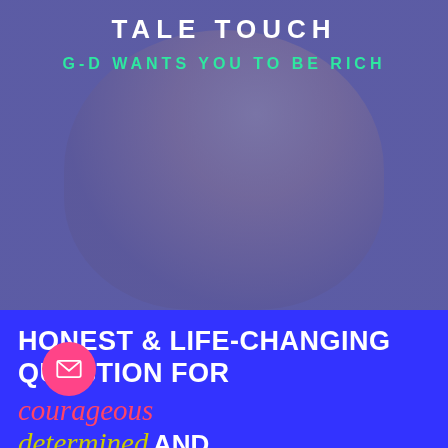[Figure (photo): Background photo of two people embracing, with a purple/blue overlay tint. Partially visible text at top reading 'TALE TOUCH'.]
G-D WANTS YOU TO BE RICH
HONEST & LIFE-CHANGING QUESTION FOR courageous determined AND spiritual JEWISH WOMEN: